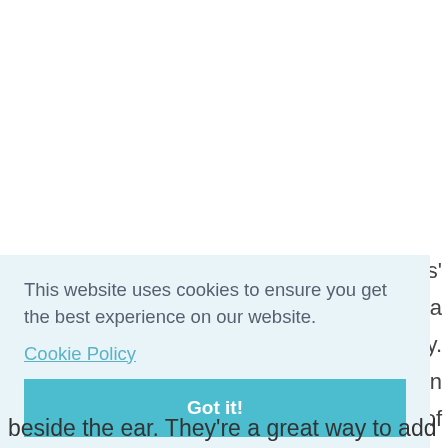[Figure (screenshot): Cookie consent banner overlay on a webpage. The banner has a light blue background with the message 'This website uses cookies to ensure you get the best experience on our website.' followed by a 'Cookie Policy' link and a teal 'Got it!' button. Behind and beside the banner, partial text from the underlying article is visible mentioning dogs' hair clips worn at the top of the head beside the ear.]
This website uses cookies to ensure you get the best experience on our website.
Cookie Policy
Got it!
beside the ear. They're a great way to add a